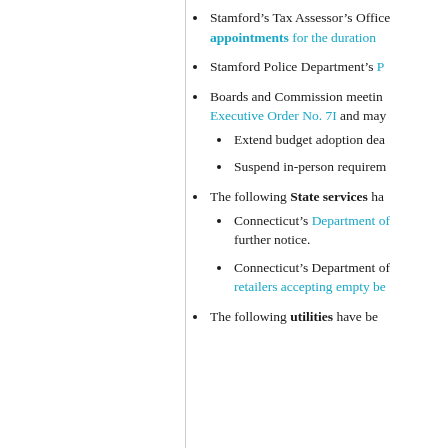Stamford’s Tax Assessor’s Office … appointments for the duration …
Stamford Police Department’s …
Boards and Commission meetings … Executive Order No. 7I and may …
Extend budget adoption dea…
Suspend in-person requirem…
The following State services ha…
Connecticut’s Department of … further notice.
Connecticut’s Department of … retailers accepting empty be…
The following utilities have be…